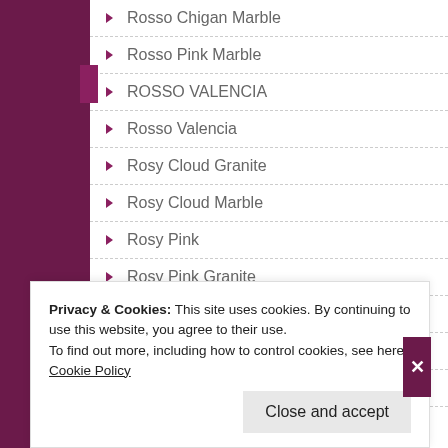Rosso Chigan Marble
Rosso Pink Marble
ROSSO VALENCIA
Rosso Valencia
Rosy Cloud Granite
Rosy Cloud Marble
Rosy Pink
Rosy Pink Granite
Safari Red
SandStone
SARRAN COLINE 1
Privacy & Cookies: This site uses cookies. By continuing to use this website, you agree to their use.
To find out more, including how to control cookies, see here: Cookie Policy
Close and accept